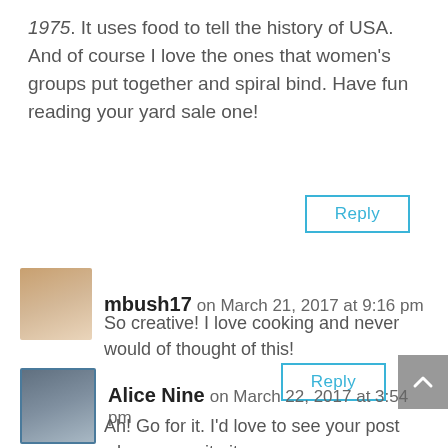1975. It uses food to tell the history of USA. And of course I love the ones that women's groups put together and spiral bind. Have fun reading your yard sale one!
Reply
mbush17 on March 21, 2017 at 9:16 pm
[Figure (photo): Avatar photo of mbush17, a young woman smiling]
So creative! I love cooking and never would of thought of this!
Reply
[Figure (photo): Avatar photo of Alice Nine, a woman with dark hair]
Alice Nine on March 22, 2017 at 3:54 pm
Ah! Go for it. I'd love to see your post when you write it.